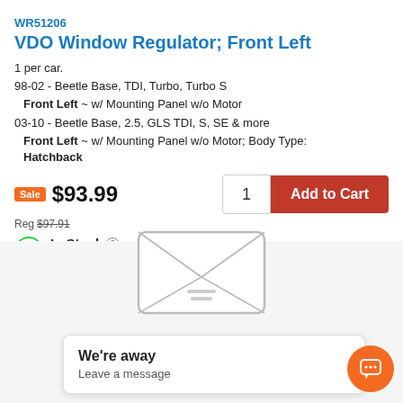WR51206
VDO Window Regulator; Front Left
1 per car.
98-02 - Beetle Base, TDI, Turbo, Turbo S
Front Left ~ w/ Mounting Panel w/o Motor
03-10 - Beetle Base, 2.5, GLS TDI, S, SE & more
Front Left ~ w/ Mounting Panel w/o Motor; Body Type: Hatchback
Sale $93.99 Reg $97.91
In Stock - Leaves warehouse within 1-2 business days.
[Figure (illustration): Envelope illustration representing a messaging/contact widget]
We're away
Leave a message